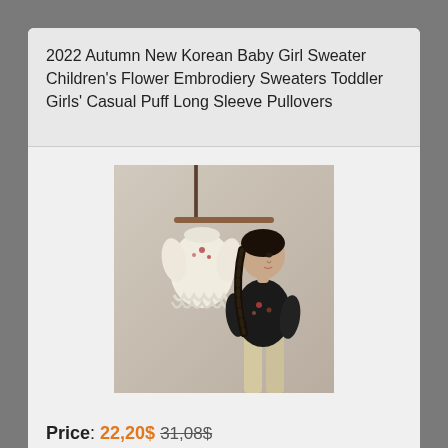2022 Autumn New Korean Baby Girl Sweater Children's Flower Embrodiery Sweaters Toddler Girls' Casual Puff Long Sleeve Pullovers
[Figure (photo): Photo of a young girl with braided hair wearing a dark flower-embroidered sweater, standing next to a cream/white ruffled sweater hanging on a wooden hanger. Background is a neutral beige/gray wall.]
Price: 22,20$ 31,08$